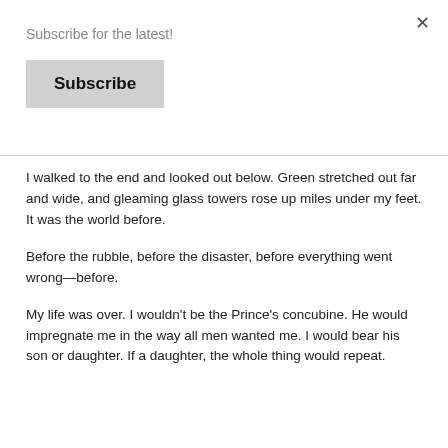Subscribe for the latest!
Subscribe
I walked to the end and looked out below. Green stretched out far and wide, and gleaming glass towers rose up miles under my feet. It was the world before.
Before the rubble, before the disaster, before everything went wrong—before.
My life was over. I wouldn't be the Prince's concubine. He would impregnate me in the way all men wanted me. I would bear his son or daughter. If a daughter, the whole thing would repeat.